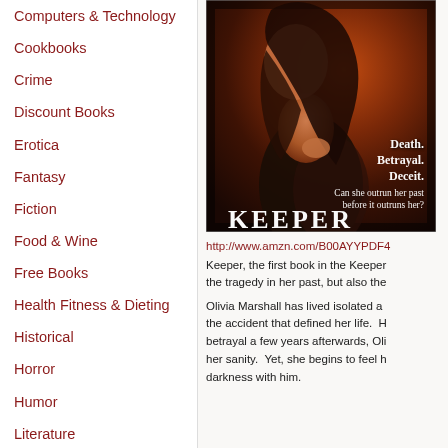Computers & Technology
Cookbooks
Crime
Discount Books
Erotica
Fantasy
Fiction
Food & Wine
Free Books
Health Fitness & Dieting
Historical
Horror
Humor
Literature
[Figure (illustration): Book cover for 'Keeper' showing a woman in a black dress with dark wavy hair, posed dramatically against a dark reddish-brown background. Text reads: Death. Betrayal. Deceit. Can she outrun her past before it outruns her? KEEPER]
http://www.amzn.com/B00AYYPDF4
Keeper, the first book in the Keeper series... the tragedy in her past, but also the...
Olivia Marshall has lived isolated a... the accident that defined her life. H... betrayal a few years afterwards, Oli... her sanity. Yet, she begins to feel h... darkness with him.